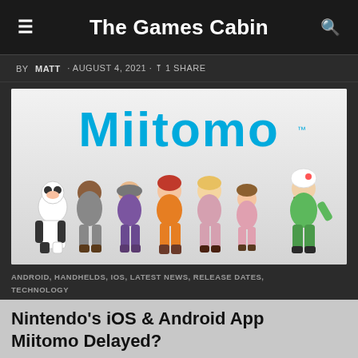The Games Cabin
BY MATT · AUGUST 4, 2021 · 1 SHARE
[Figure (illustration): Miitomo app logo with colorful Mii characters standing in a row on a light gray background]
ANDROID, HANDHELDS, IOS, LATEST NEWS, RELEASE DATES, TECHNOLOGY
Nintendo's iOS & Android App Miitomo Delayed?